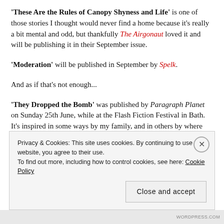'These Are the Rules of Canopy Shyness and Life' is one of those stories I thought would never find a home because it's really a bit mental and odd, but thankfully The Airgonaut loved it and will be publishing it in their September issue.
'Moderation' will be published in September by Spelk.
And as if that's not enough...
'They Dropped the Bomb' was published by Paragraph Planet on Sunday 25th June, while at the Flash Fiction Festival in Bath. It's inspired in some ways by my family, and in others by where the world is likely to end up
Privacy & Cookies: This site uses cookies. By continuing to use this website, you agree to their use. To find out more, including how to control cookies, see here: Cookie Policy
Close and accept